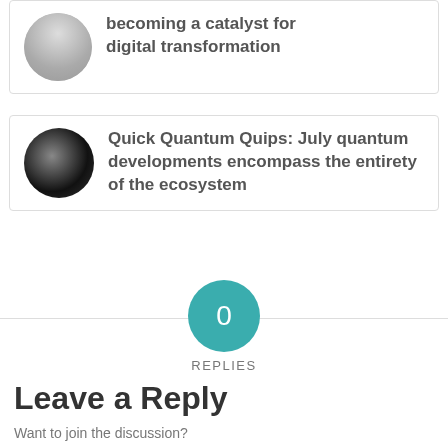becoming a catalyst for digital transformation
Quick Quantum Quips: July quantum developments encompass the entirety of the ecosystem
0
REPLIES
Leave a Reply
Want to join the discussion?
Feel free to contribute!